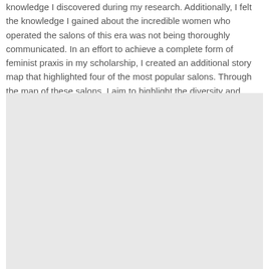knowledge I discovered during my research. Additionally, I felt the knowledge I gained about the incredible women who operated the salons of this era was not being thoroughly communicated. In an effort to achieve a complete form of feminist praxis in my scholarship, I created an additional story map that highlighted four of the most popular salons. Through the map of these salons, I aim to highlight the diversity and dynamism of their patrons, not only as lovers of music but as people who left a distinct mark on musical society.
[Figure (other): A large light gray rectangular placeholder image block, likely representing an embedded map or interactive media element referenced in the text.]